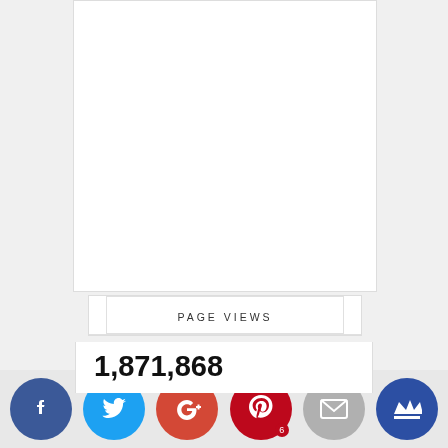[Figure (other): White blank content area box (article/advertisement placeholder)]
PAGE VIEWS
1,871,868
[Figure (infographic): Social share buttons row: Facebook (blue circle with f), Twitter (light blue circle with bird), Google+ (red-orange circle with g+), Pinterest (dark red circle with P and badge 6), Email (gray circle with envelope), Crown/Bloglovin (dark blue circle with crown icon)]